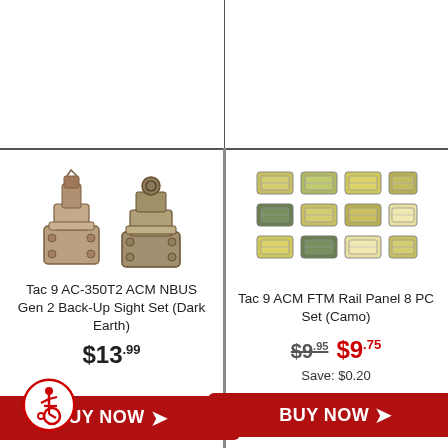[Figure (photo): Two tan/dark earth colored folding backup sights (BUIS) - front and rear sight set]
Tac 9 AC-350T2 ACM NBUS Gen 2 Back-Up Sight Set (Dark Earth)
$13.99
BUY NOW
[Figure (photo): 8-piece camo rail panel set with various colored pieces arranged in a grid]
Tac 9 ACM FTM Rail Panel 8 PC Set (Camo)
$9.95 $9.75
Save: $0.20
BUY NOW